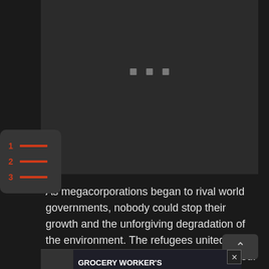[Figure (screenshot): Dark video player / content area with three small grey square loading dots centered in the upper portion. The player background is very dark grey (#2b2b2b). Left and right sidebars are near-black.]
[Figure (infographic): Numbered list / table-of-contents widget icon showing '1', '2', '3' in orange-red on the left with red horizontal bars to the right of each number, on a dark rounded rectangle background.]
As megacorporations began to rival world governments, nobody could stop their growth and the unforgiving degradation of the environment. The refugees united
[Figure (screenshot): Advertisement banner: 'GROCERY WORKER'S APPRECIATION FUND' with Kendall Jackson and United Way logos, and a close button (X). Partially visible at the bottom of the page.]
shifted.